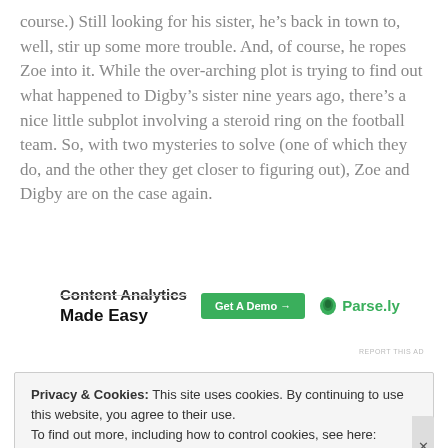course.) Still looking for his sister, he’s back in town to, well, stir up some more trouble. And, of course, he ropes Zoe into it. While the over-arching plot is trying to find out what happened to Digby’s sister nine years ago, there’s a nice little subplot involving a steroid ring on the football team. So, with two mysteries to solve (one of which they do, and the other they get closer to figuring out), Zoe and Digby are on the case again.
[Figure (infographic): Content Analytics Made Easy advertisement banner with a green Get A Demo button and Parse.ly logo]
REPORT THIS AD
Privacy & Cookies: This site uses cookies. By continuing to use this website, you agree to their use.
To find out more, including how to control cookies, see here: Cookie Policy
Close and accept